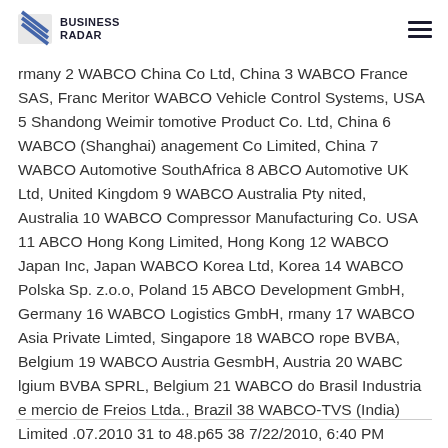BUSINESS RADAR
rmany 2 WABCO China Co Ltd, China 3 WABCO France SAS, Franc Meritor WABCO Vehicle Control Systems, USA 5 Shandong Weimir tomotive Product Co. Ltd, China 6 WABCO (Shanghai) anagement Co Limited, China 7 WABCO Automotive SouthAfrica 8 ABCO Automotive UK Ltd, United Kingdom 9 WABCO Australia Pty nited, Australia 10 WABCO Compressor Manufacturing Co. USA 11 ABCO Hong Kong Limited, Hong Kong 12 WABCO Japan Inc, Japan WABCO Korea Ltd, Korea 14 WABCO Polska Sp. z.o.o, Poland 15 ABCO Development GmbH, Germany 16 WABCO Logistics GmbH, rmany 17 WABCO Asia Private Limted, Singapore 18 WABCO rope BVBA, Belgium 19 WABCO Austria GesmbH, Austria 20 WABC lgium BVBA SPRL, Belgium 21 WABCO do Brasil Industria e mercio de Freios Ltda., Brazil 38 WABCO-TVS (India) Limited .07.2010 31 to 48.p65 38 7/22/2010, 6:40 PM